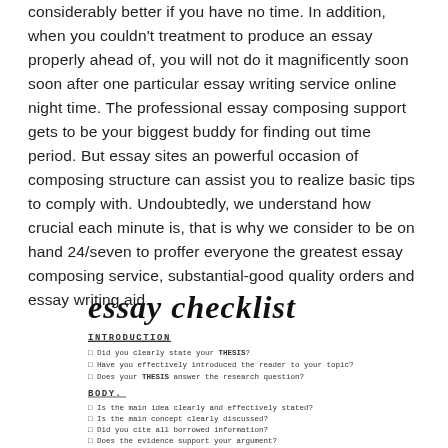considerably better if you have no time. In addition, when you couldn't treatment to produce an essay properly ahead of, you will not do it magnificently soon soon after one particular essay writing service online night time. The professional essay composing support gets to be your biggest buddy for finding out time period. But essay sites an powerful occasion of composing structure can assist you to realize basic tips to comply with. Undoubtedly, we understand how crucial each minute is, that is why we consider to be on hand 24/seven to proffer everyone the greatest essay composing service, substantial-good quality orders and essay writing aid.
[Figure (infographic): Essay checklist infographic with sections for Introduction and Body, written in handwritten/script style font. Introduction section has checkboxes: Did you clearly state your THESIS? Have you effectively introduced the reader to your topic? Does your THESIS answer the research question? Body section has checkboxes: Is the main idea clearly and effectively stated? Is the main concept clearly discussed? Did you cite all borrowed information? Does the evidence support your argument? Do all body paragraphs follow a similar structure?]